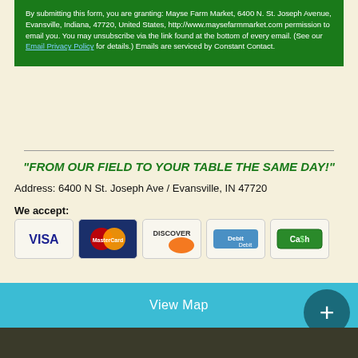By submitting this form, you are granting: Mayse Farm Market, 6400 N. St. Joseph Avenue, Evansville, Indiana, 47720, United States, http://www.maysefarmmarket.com permission to email you. You may unsubscribe via the link found at the bottom of every email. (See our Email Privacy Policy for details.) Emails are serviced by Constant Contact.
"FROM OUR FIELD TO YOUR TABLE THE SAME DAY!"
Address: 6400 N St. Joseph Ave / Evansville, IN 47720
We accept:
[Figure (infographic): Payment method icons: VISA, MasterCard, Discover, Debit, Cash]
View Map